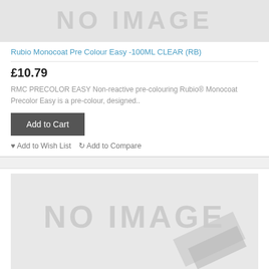[Figure (photo): Product image placeholder (top, partially visible, gray background with watermark text)]
Rubio Monocoat Pre Colour Easy -100ML CLEAR (RB)
£10.79
RMC PRECOLOR EASY Non-reactive pre-colouring Rubio® Monocoat Precolor Easy is a pre-colour, designed..
Add to Cart
Add to Wish List   Add to Compare
[Figure (photo): Product image placeholder (bottom, gray background with NO IMAGE text and diagonal watermark shape)]